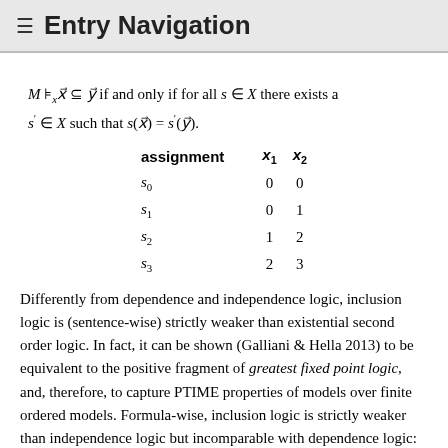≡ Entry Navigation
| assignment | x₁ | x₂ |
| --- | --- | --- |
| s₀ | 0 | 0 |
| s₁ | 0 | 1 |
| s₂ | 1 | 2 |
| s₃ | 2 | 3 |
Differently from dependence and independence logic, inclusion logic is (sentence-wise) strictly weaker than existential second order logic. In fact, it can be shown (Galliani & Hella 2013) to be equivalent to the positive fragment of greatest fixed point logic, and, therefore, to capture PTIME properties of models over finite ordered models. Formula-wise, inclusion logic is strictly weaker than independence logic but incomparable with dependence logic: indeed, the satisfiability conditions of it f...